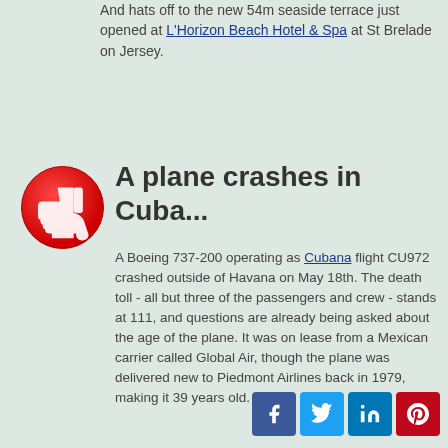And hats off to the new 54m seaside terrace just opened at L'Horizon Beach Hotel & Spa at St Brelade on Jersey.
A plane crashes in Cuba...
A Boeing 737-200 operating as Cubana flight CU972 crashed outside of Havana on May 18th. The death toll - all but three of the passengers and crew - stands at 111, and questions are already being asked about the age of the plane. It was on lease from a Mexican carrier called Global Air, though the plane was delivered new to Piedmont Airlines back in 1979, making it 39 years old.
[Figure (infographic): Red circle thumbs-down icon]
[Figure (infographic): Social sharing buttons: Facebook, Twitter, LinkedIn, Pinterest]